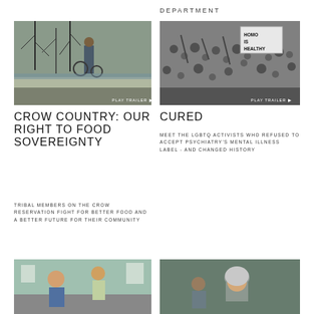DEPARTMENT
[Figure (photo): Person standing in a wetland landscape with bare trees and snow, holding circular objects. PLAY TRAILER button visible.]
CROW COUNTRY: OUR RIGHT TO FOOD SOVEREIGNTY
TRIBAL MEMBERS ON THE CROW RESERVATION FIGHT FOR BETTER FOOD AND A BETTER FUTURE FOR THEIR COMMUNITY
[Figure (photo): Black and white photo of a large crowd of LGBTQ activists, one holding a sign reading HOMO IS HEALTHY. PLAY TRAILER button visible.]
CURED
MEET THE LGBTQ ACTIVISTS WHO REFUSED TO ACCEPT PSYCHIATRY'S MENTAL ILLNESS LABEL - AND CHANGED HISTORY
[Figure (photo): Two people in what appears to be a classroom setting, partial view at bottom of page.]
[Figure (photo): People including a woman in a hijab in what appears to be a school or community setting, partial view at bottom of page.]